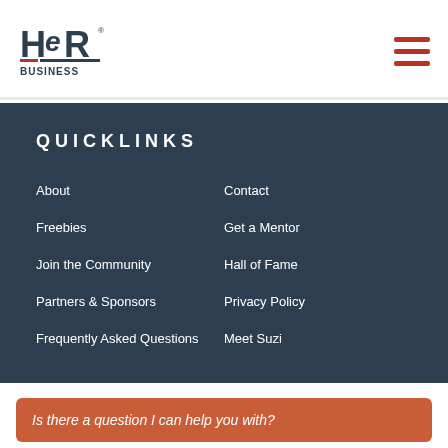HER BUSINESS logo and navigation menu
QUICKLINKS
About
Contact
Freebies
Get a Mentor
Join the Community
Hall of Fame
Partners & Sponsors
Privacy Policy
Frequently Asked Questions
Meet Suzi
HER BUSINESS logo with social icons: Facebook, Twitter, YouTube, Email
Is there a question I can help you with?